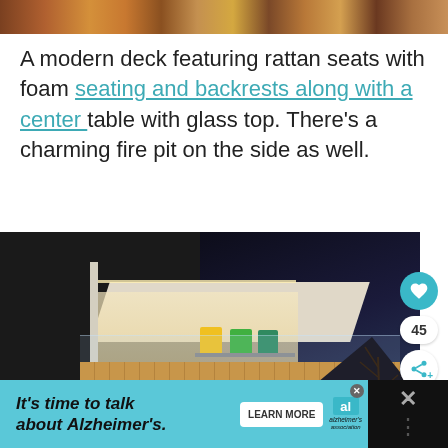[Figure (photo): Top portion of a photo showing rattan/wood deck furniture and flooring with warm brown tones]
A modern deck featuring rattan seats with foam seating and backrests along with a center table with glass top. There’s a charming fire pit on the side as well.
[Figure (photo): Night photograph of a modern deck with illuminated interior space, glass railings, colorful chairs, wooden decking, and dark mountain/sky background]
It’s time to talk about Alzheimer’s. LEARN MORE